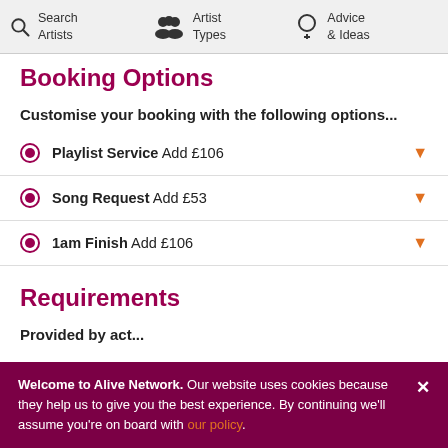Search Artists | Artist Types | Advice & Ideas
Booking Options
Customise your booking with the following options...
Playlist Service Add £106
Song Request Add £53
1am Finish Add £106
Requirements
Provided by act...
Welcome to Alive Network. Our website uses cookies because they help us to give you the best experience. By continuing we'll assume you're on board with our policy.